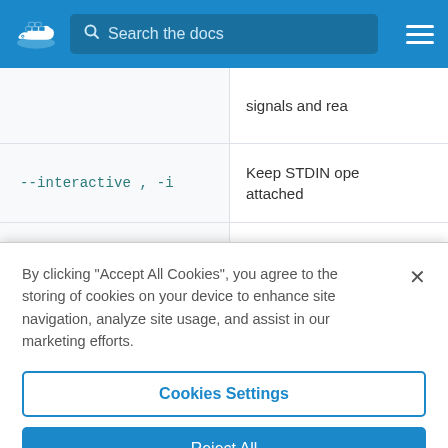[Figure (screenshot): Docker documentation site navbar with Docker whale logo, search bar labeled 'Search the docs', and hamburger menu icon on blue background]
| Flag | Description |
| --- | --- |
|  | signals and rea |
| --interactive , -i | Keep STDIN ope
attached |
|  | Maximum IO ba |
By clicking “Accept All Cookies”, you agree to the storing of cookies on your device to enhance site navigation, analyze site usage, and assist in our marketing efforts.
Cookies Settings
Reject All
Accept All Cookies